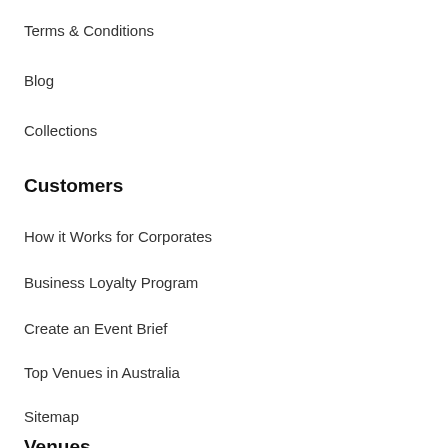Terms & Conditions
Blog
Collections
Customers
How it Works for Corporates
Business Loyalty Program
Create an Event Brief
Top Venues in Australia
Sitemap
Venues